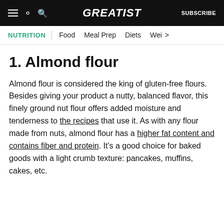GREATIST   SUBSCRIBE
NUTRITION | Food   Meal Prep   Diets   Wei >
1. Almond flour
Almond flour is considered the king of gluten-free flours. Besides giving your product a nutty, balanced flavor, this finely ground nut flour offers added moisture and tenderness to the recipes that use it. As with any flour made from nuts, almond flour has a higher fat content and contains fiber and protein. It's a good choice for baked goods with a light crumb texture: pancakes, muffins, cakes, etc.